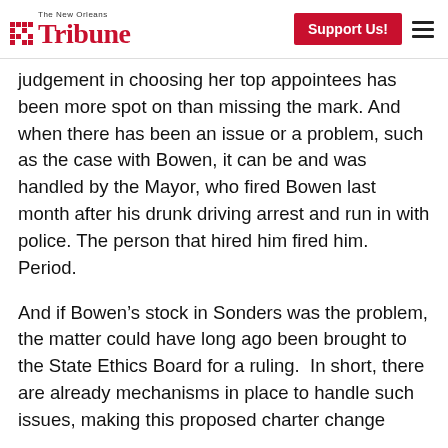The New Orleans Tribune — Support Us!
judgement in choosing her top appointees has been more spot on than missing the mark. And when there has been an issue or a problem, such as the case with Bowen, it can be and was handled by the Mayor, who fired Bowen last month after his drunk driving arrest and run in with police. The person that hired him fired him. Period.
And if Bowen’s stock in Sonders was the problem, the matter could have long ago been brought to the State Ethics Board for a ruling.  In short, there are already mechanisms in place to handle such issues, making this proposed charter change